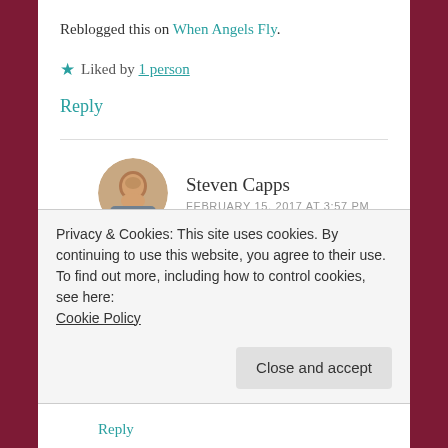Reblogged this on When Angels Fly.
★ Liked by 1 person
Reply
Steven Capps
FEBRUARY 15, 2017 AT 3:57 PM
Thank you so much! It means a lot that you found enough value in my post to share it! I
Privacy & Cookies: This site uses cookies. By continuing to use this website, you agree to their use.
To find out more, including how to control cookies, see here:
Cookie Policy
Close and accept
Reply